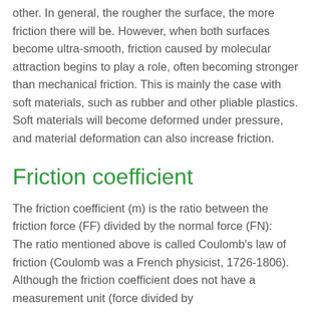other. In general, the rougher the surface, the more friction there will be. However, when both surfaces become ultra-smooth, friction caused by molecular attraction begins to play a role, often becoming stronger than mechanical friction. This is mainly the case with soft materials, such as rubber and other pliable plastics. Soft materials will become deformed under pressure, and material deformation can also increase friction.
Friction coefficient
The friction coefficient (m) is the ratio between the friction force (FF) divided by the normal force (FN): The ratio mentioned above is called Coulomb's law of friction (Coulomb was a French physicist, 1726-1806). Although the friction coefficient does not have a measurement unit (force divided by